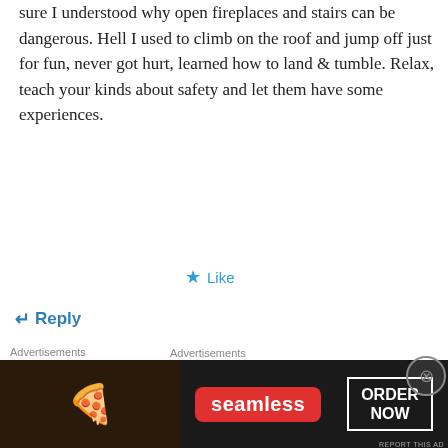sure I understood why open fireplaces and stairs can be dangerous. Hell I used to climb on the roof and jump off just for fun, never got hurt, learned how to land & tumble. Relax, teach your kinds about safety and let them have some experiences.
Like
Reply
[Figure (screenshot): Longreads advertisement banner with black background. Shows Longreads logo and text 'Read anything great lately?']
[Figure (screenshot): Seamless food delivery advertisement. Shows pizza image, Seamless logo in red, and ORDER NOW button with white border.]
larrygeiger on March 25, 2017 at 1:42 pm